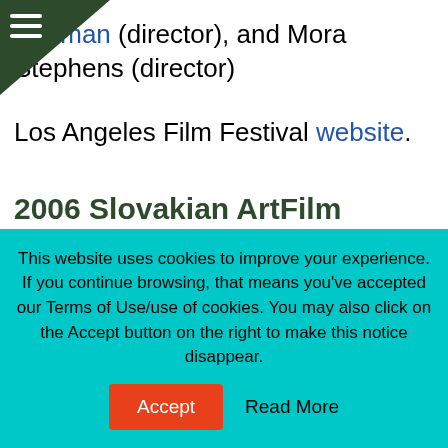Reitman (director), and Mora Stephens (director)
Los Angeles Film Festival website.
2006 Slovakian ArtFilm Festival Awards
2006 Slovakian ArtFilm Festival Awards: July 1, 2006
Blue Angel Awards
This website uses cookies to improve your experience. If you continue browsing, that means you've accepted our Terms of Use/use of cookies. You may also click on the Accept button on the right to make this notice disappear.